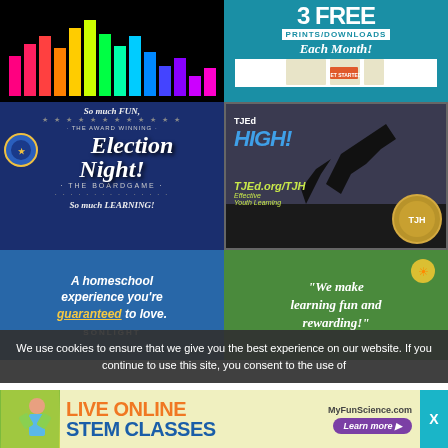[Figure (illustration): Music equalizer ad with colorful vertical bars on black background]
[Figure (illustration): 3 Free Prints/Downloads Each Month promotional ad on teal background with Get Started button]
[Figure (illustration): Election Night The Boardgame advertisement - So much FUN, So much LEARNING on dark blue background]
[Figure (illustration): TJEd HIGH! advertisement with silhouette climbers, TJEd.org/TJH, Effective Youth Learning]
[Figure (illustration): Sonlight homeschool ad - A homeschool experience you're guaranteed to love on blue background]
[Figure (illustration): We make learning fun and rewarding ad on green background]
We use cookies to ensure that we give you the best experience on our website. If you continue to use this site, you consent to the use of
[Figure (illustration): MyFunScience.com LIVE ONLINE STEM CLASSES advertisement banner with Learn more button]